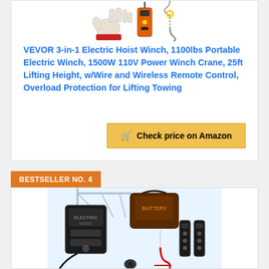[Figure (photo): Product photo of VEVOR electric hoist winch showing glove, remote control, and hook components]
VEVOR 3-in-1 Electric Hoist Winch, 1100lbs Portable Electric Winch, 1500W 110V Power Winch Crane, 25ft Lifting Height, w/Wire and Wireless Remote Control, Overload Protection for Lifting Towing
Check price on Amazon
BESTSELLER NO. 4
[Figure (photo): Product photo of electric hoist winch showing device, battery pack, hook, and remote controls]